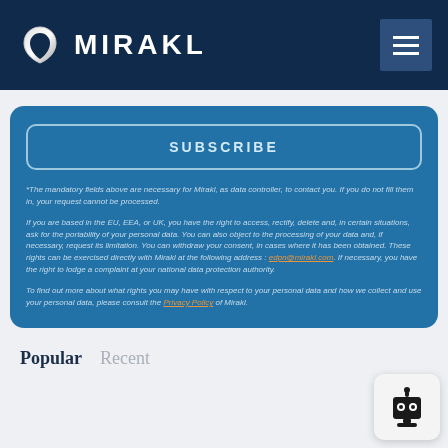MIRAKL
SUBSCRIBE
*The mandatory fields above are necessary for Mirakl, as data controller, to contact you. If you do not fill them in, your request cannot be processed.
If you are based in the EU, EEA, or UK, you have the right to access, rectify, delete and, in certain situations, ask for the portability of your personal data. You can also object to the processing of your data and, if necessary, request its limitation. You can withdraw your consent, in cases where it has been obtained. These rights can be exercised directly with Mirakl at the following address: edpn@mirakl.com. If necessary, you have the right to lodge a complaint at your national data protection authority.
To find out more about what rights you may have with respect to your personal data and how we collect and use your personal data, please consult the Privacy Policy of Mirakl.
Popular   Recent